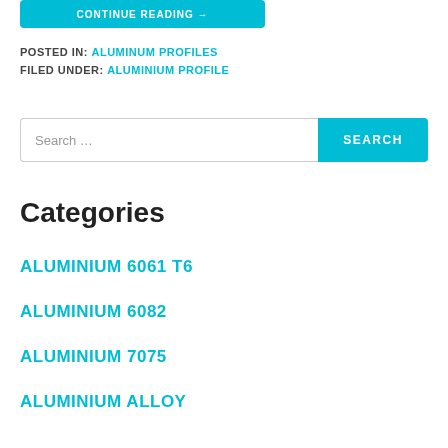[Figure (other): A cyan/blue 'CONTINUE READING →' button]
POSTED IN: ALUMINUM PROFILES
FILED UNDER: ALUMINIUM PROFILE
Search …
Categories
ALUMINIUM 6061 T6
ALUMINIUM 6082
ALUMINIUM 7075
ALUMINIUM ALLOY